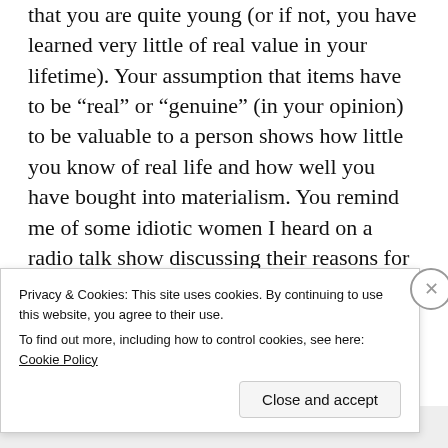that you are quite young (or if not, you have learned very little of real value in your lifetime). Your assumption that items have to be “real” or “genuine” (in your opinion) to be valuable to a person shows how little you know of real life and how well you have bought into materialism. You remind me of some idiotic women I heard on a radio talk show discussing their reasons for extravagant purchases. SEVERAL callers stated that they would buy the SAME BRAND ITEM at the highest possible
Privacy & Cookies: This site uses cookies. By continuing to use this website, you agree to their use.
To find out more, including how to control cookies, see here: Cookie Policy
Close and accept